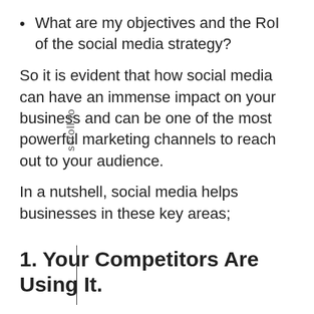What are my objectives and the RoI of the social media strategy?
So it is evident that how social media can have an immense impact on your business and can be one of the most powerful marketing channels to reach out to your audience.
In a nutshell, social media helps businesses in these key areas;
1. Your Competitors Are Using It.
Whether you are a local or national business, selling a product or service it is likely your competitors are using